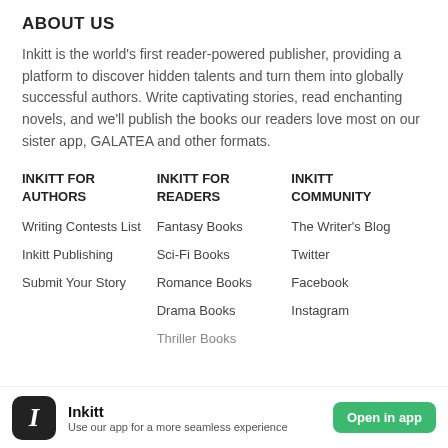ABOUT US
Inkitt is the world's first reader-powered publisher, providing a platform to discover hidden talents and turn them into globally successful authors. Write captivating stories, read enchanting novels, and we'll publish the books our readers love most on our sister app, GALATEA and other formats.
INKITT FOR AUTHORS
Writing Contests List
Inkitt Publishing
Submit Your Story
INKITT FOR READERS
Fantasy Books
Sci-Fi Books
Romance Books
Drama Books
Thriller Books
INKITT COMMUNITY
The Writer's Blog
Twitter
Facebook
Instagram
Inkitt — Use our app for a more seamless experience — Open in app